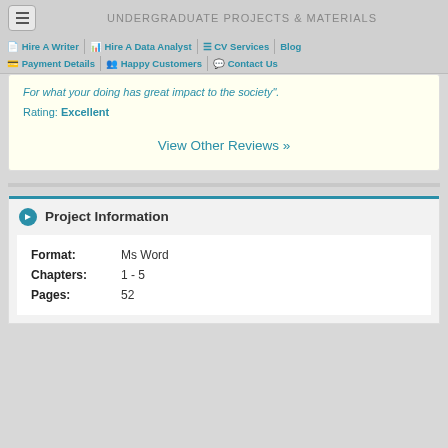UNDERGRADUATE PROJECTS & MATERIALS
Hire A Writer | Hire A Data Analyst | CV Services | Blog | Payment Details | Happy Customers | Contact Us
For what your doing has great impact to the society". Rating: Excellent
View Other Reviews »
Project Information
| Field | Value |
| --- | --- |
| Format: | Ms Word |
| Chapters: | 1 - 5 |
| Pages: | 52 |